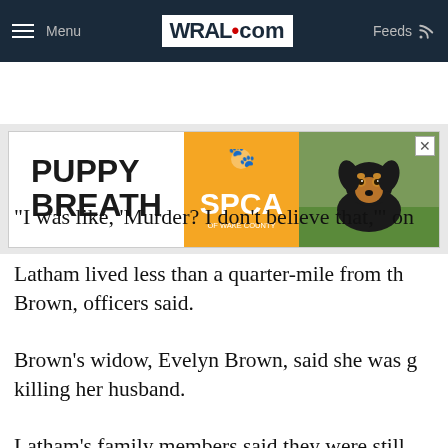Menu | WRAL.com | Feeds
[Figure (other): WRAL.com navigation bar with hamburger menu, WRAL.com logo, and Feeds icon on dark navy background]
[Figure (other): Advertisement banner: PUPPY BREATH with SPCA of Wake County logo and photo of black and tan puppy]
"I was like, 'Murder? I don't believe that,'" on
Latham lived less than a quarter-mile from th Brown, officers said.
Brown's widow, Evelyn Brown, said she was g killing her husband.
Latham's family members said they were still